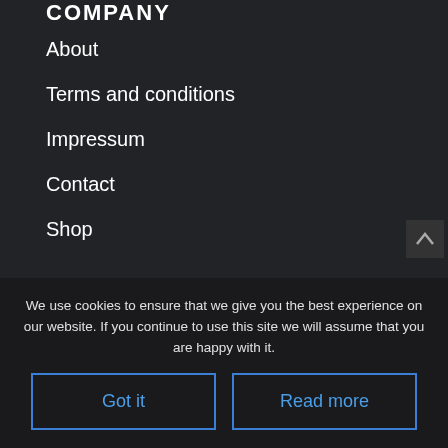COMPANY
About
Terms and conditions
Impressum
Contact
Shop
FOLLOW US
[Figure (infographic): Social media icons: Flickr (pink), Instagram (gradient), Facebook (blue), LinkedIn (blue), YouTube (red)]
We use cookies to ensure that we give you the best experience on our website. If you continue to use this site we will assume that you are happy with it.
© 2021 Leidorf-Aerial.com